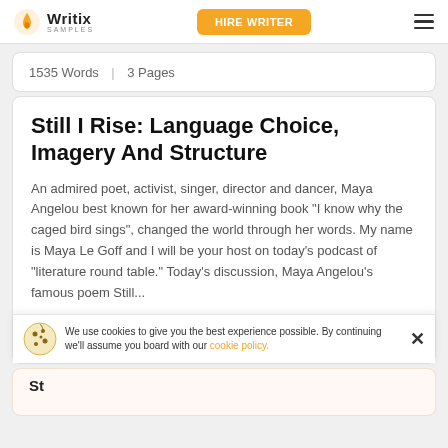Writix SAMPLES | HIRE WRITER
1535 Words | 3 Pages
Still I Rise: Language Choice, Imagery And Structure
An admired poet, activist, singer, director and dancer, Maya Angelou best known for her award-winning book "I know why the caged bird sings", changed the world through her words. My name is Maya Le Goff and I will be your host on today's podcast of "literature round table." Today's discussion, Maya Angelou's famous poem Still...
We use cookies to give you the best experience possible. By continuing we'll assume you board with our cookie policy. ✕